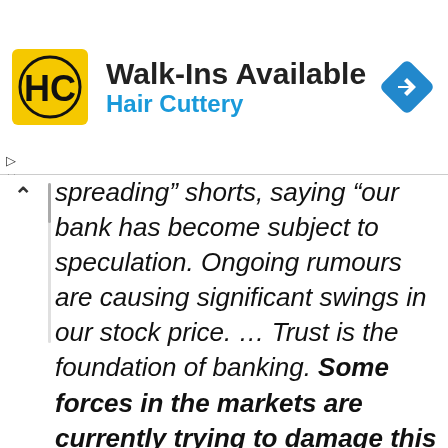[Figure (logo): Hair Cuttery advertisement banner with yellow HC logo, text 'Walk-Ins Available' and 'Hair Cuttery' in blue, and a blue navigation diamond icon on right]
spreading” shorts, saying “our bank has become subject to speculation. Ongoing rumours are causing significant swings in our stock price. … Trust is the foundation of banking. Some forces in the markets are currently trying to damage this trust.”
Just as important, Cryan confirms the…